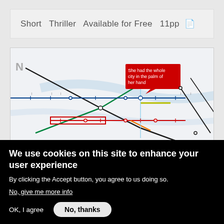Short  Thriller  Available for Free  11pp 📄
[Figure (map): London Underground / transit network map with a red tooltip overlay reading 'She had the whole city in the palm of her hand']
We use cookies on this site to enhance your user experience
By clicking the Accept button, you agree to us doing so.
No, give me more info
OK, I agree
No, thanks